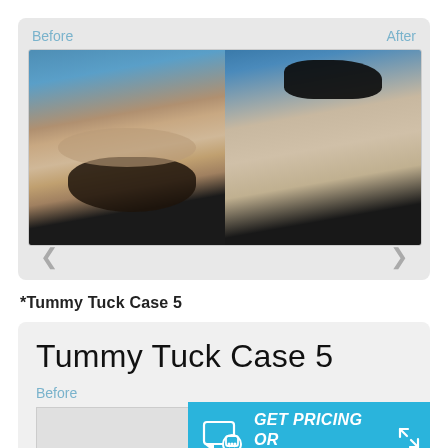[Figure (photo): Before and after side-by-side photos of a tummy tuck procedure. Left image labeled 'Before' shows person with excess abdominal skin. Right image labeled 'After' shows flatter abdomen post-surgery. Navigation arrows on left and right sides.]
*Tummy Tuck Case 5
[Figure (screenshot): Bottom card showing 'Tummy Tuck Case 5' heading with 'Before' label and partial before photo visible. A teal 'GET PRICING OR CONTACT US' CTA button overlaid at bottom right with an expand icon.]